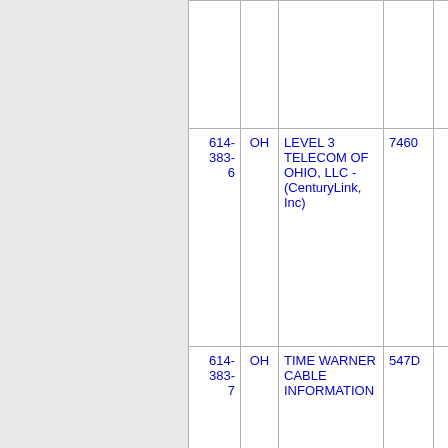| Phone | State | Company Name | Code |  |
| --- | --- | --- | --- | --- |
|  |  |  |  |  |
| 614-383-6 | OH | LEVEL 3 TELECOM OF OHIO, LLC - (CenturyLink, Inc) | 7460 |  |
| 614-383-7 | OH | TIME WARNER CABLE INFORMATION | 547D |  |